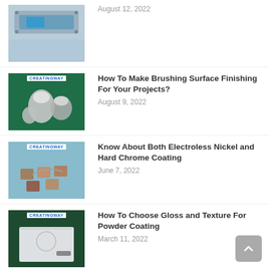[Figure (photo): Metal machined part with blue accent on teal/grey background, partially cropped at top]
August 12, 2022
[Figure (photo): Brushed aluminium cone and bowl shaped parts on green background, with CREATINGWAY label]
How To Make Brushing Surface Finishing For Your Projects?
August 9, 2022
[Figure (photo): Small metallic block parts arranged on blue background with CREATINGWAY label]
Know About Both Electroless Nickel and Hard Chrome Coating
June 7, 2022
[Figure (photo): White flat metal plate/panel on dark green background with CREATINGWAY label]
How To Choose Gloss and Texture For Powder Coating
March 11, 2022
[Figure (photo): Metal parts on blue/teal background with CREATINGWAY label, partially cropped]
Understanding Vacuum Metalizing